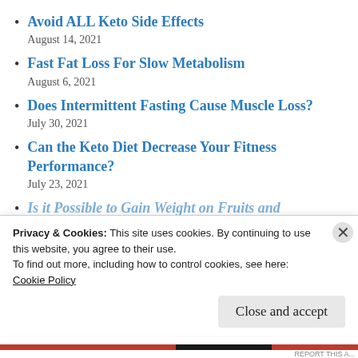Avoid ALL Keto Side Effects
August 14, 2021
Fast Fat Loss For Slow Metabolism
August 6, 2021
Does Intermittent Fasting Cause Muscle Loss?
July 30, 2021
Can the Keto Diet Decrease Your Fitness Performance?
July 23, 2021
Is it Possible to Gain Weight on Fruits and…
Privacy & Cookies: This site uses cookies. By continuing to use this website, you agree to their use.
To find out more, including how to control cookies, see here:
Cookie Policy
Close and accept